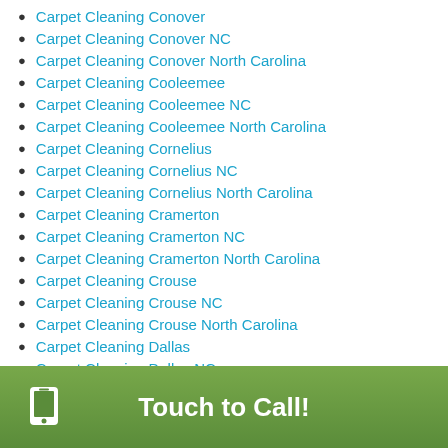Carpet Cleaning Conover
Carpet Cleaning Conover NC
Carpet Cleaning Conover North Carolina
Carpet Cleaning Cooleemee
Carpet Cleaning Cooleemee NC
Carpet Cleaning Cooleemee North Carolina
Carpet Cleaning Cornelius
Carpet Cleaning Cornelius NC
Carpet Cleaning Cornelius North Carolina
Carpet Cleaning Cramerton
Carpet Cleaning Cramerton NC
Carpet Cleaning Cramerton North Carolina
Carpet Cleaning Crouse
Carpet Cleaning Crouse NC
Carpet Cleaning Crouse North Carolina
Carpet Cleaning Dallas
Carpet Cleaning Dallas NC
Carpet Cleaning Dallas North Carolina
Touch to Call!